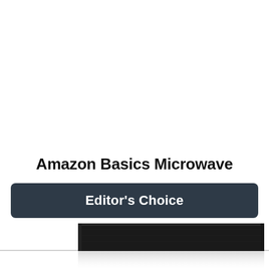Amazon Basics Microwave
Editor's Choice
[Figure (photo): Amazon Basics Microwave product photo showing a black compact microwave oven viewed from a slight angle, with a reflection visible beneath it on a glossy surface. Only the top portion of the microwave is visible as the image is cropped.]